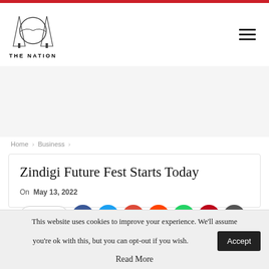THE NATION
Home > Business >
Zindigi Future Fest Starts Today
On May 13, 2022
[Figure (other): Share button with social media icons: Facebook, Twitter, Google, Reddit, WhatsApp, Pinterest, Email]
This website uses cookies to improve your experience. We'll assume you're ok with this, but you can opt-out if you wish. Read More